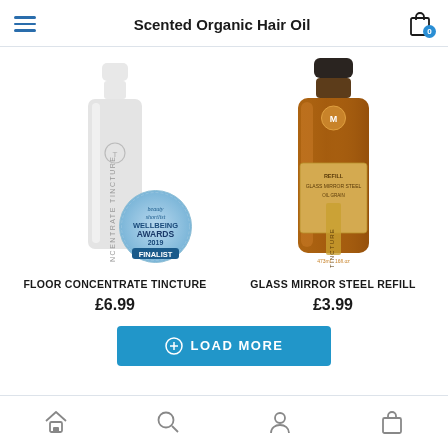Scented Organic Hair Oil
[Figure (photo): White plastic bottle labeled FLOOR CONCENTRATE TINCTURE with a beauty shortlist Wellbeing Awards 2019 Finalist badge overlay]
FLOOR CONCENTRATE TINCTURE
£6.99
[Figure (photo): Amber glass bottle with dark cap, labeled REFILL GLASS MIRROR STEEL with a yellow label strip showing TINCTURE branding]
GLASS MIRROR STEEL REFILL
£3.99
LOAD MORE
Home | Search | Account | Bag